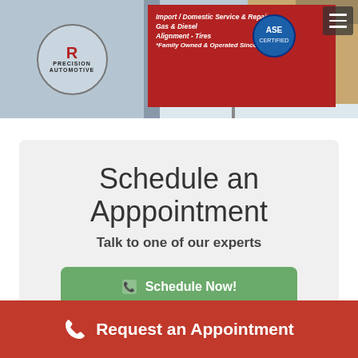[Figure (photo): Storefront photo of Precision Automotive shop with red banners showing services: Import/Domestic Service & Repair, Gas & Diesel, Alignment - Tires, Family Owned & Operated Since 1984. ASE certified badge visible. Hamburger menu icon in top right.]
Schedule an Apppointment
Talk to one of our experts
Schedule Now!
Request an Appointment